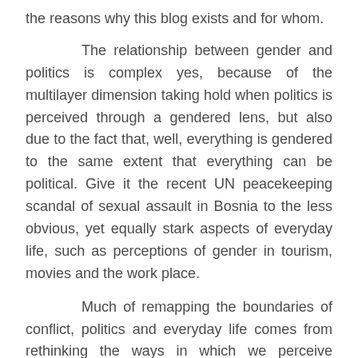the reasons why this blog exists and for whom.
The relationship between gender and politics is complex yes, because of the multilayer dimension taking hold when politics is perceived through a gendered lens, but also due to the fact that, well, everything is gendered to the same extent that everything can be political. Give it the recent UN peacekeeping scandal of sexual assault in Bosnia to the less obvious, yet equally stark aspects of everyday life, such as perceptions of gender in tourism, movies and the work place.
Much of remapping the boundaries of conflict, politics and everyday life comes from rethinking the ways in which we perceive ourselves and consequently